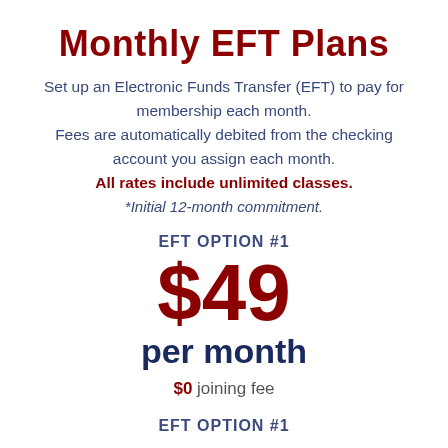Monthly EFT Plans
Set up an Electronic Funds Transfer (EFT) to pay for membership each month. Fees are automatically debited from the checking account you assign each month. All rates include unlimited classes. *Initial 12-month commitment.
EFT OPTION #1
$49 per month
$0 joining fee
EFT OPTION #1